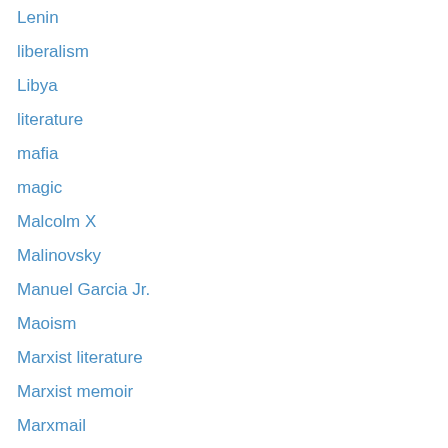Lenin
liberalism
Libya
literature
mafia
magic
Malcolm X
Malinovsky
Manuel Garcia Jr.
Maoism
Marxist literature
Marxist memoir
Marxmail
McCarthyism
mechanical anti-imperialism
media
Mexico
Miami Beach
middle east
militarism